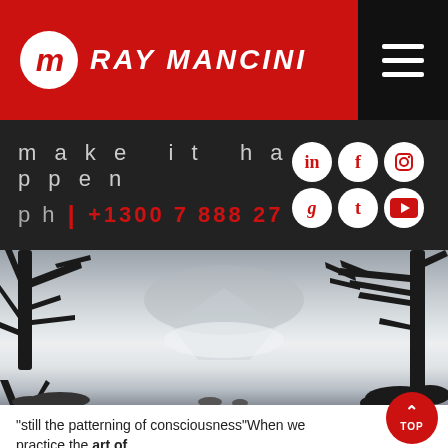RAY MANCINI
make it happen
ph | +1300 7 888 27
[Figure (photo): Black and white misty lake scene with bare tree silhouettes on left and right, foggy mountain reflections in calm water, rocks at bottom]
“still the patterning of consciousness”When we practice the art of